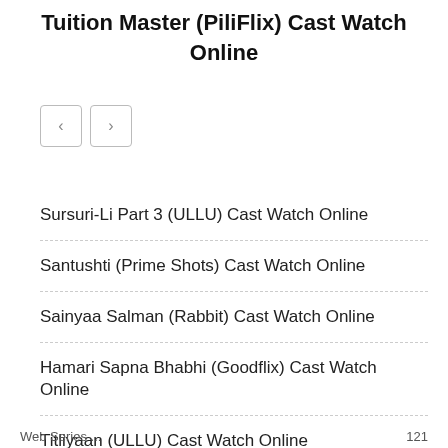Tuition Master (PiliFlix) Cast Watch Online
[Figure (other): Navigation previous/next arrow buttons]
Sursuri-Li Part 3 (ULLU) Cast Watch Online
Santushti (Prime Shots) Cast Watch Online
Sainyaa Salman (Rabbit) Cast Watch Online
Hamari Sapna Bhabhi (Goodflix) Cast Watch Online
Titliyaan (ULLU) Cast Watch Online
Web Series ... 121